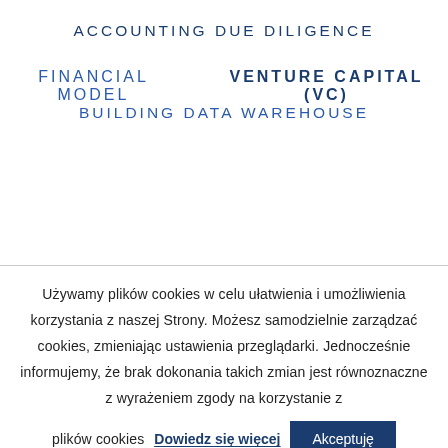ACCOUNTING DUE DILIGENCE
FINANCIAL MODEL   VENTURE CAPITAL (VC)
BUILDING DATA WAREHOUSE
Używamy plików cookies w celu ułatwienia i umożliwienia korzystania z naszej Strony. Możesz samodzielnie zarządzać cookies, zmieniając ustawienia przeglądarki. Jednocześnie informujemy, że brak dokonania takich zmian jest równoznaczne z wyrażeniem zgody na korzystanie z plików cookies  Dowiedz się więcej  Akceptuję